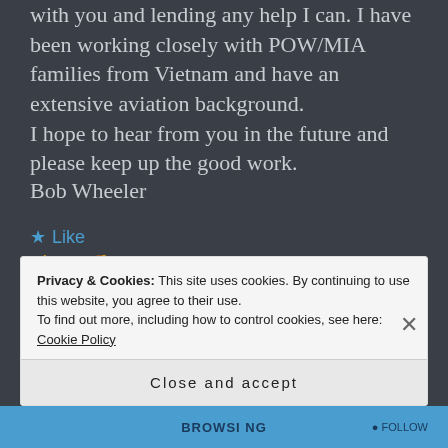with you and lending any help I can. I have been working closely with POW/MIA families from Vietnam and have an extensive aviation background.
I hope to hear from you in the future and please keep up the good work.
Bob Wheeler
★ Like  👍 4  👎 0  ℹ Rate This
Privacy & Cookies: This site uses cookies. By continuing to use this website, you agree to their use. To find out more, including how to control cookies, see here: Cookie Policy
Close and accept